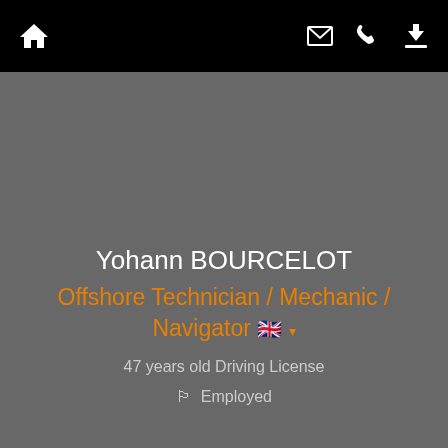Navigation bar with home, mail, phone, and download icons
[Figure (photo): Grey background profile photo area — no visible photo, just grey background]
Yohann BOURCELOT
Offshore Technician / Mechanic / Navigator
47 years old Driving License
Employed